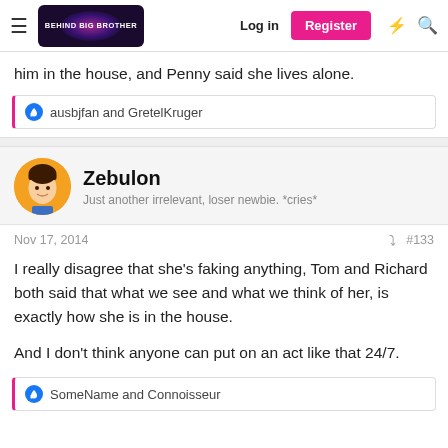Behind Big Brother — Log in | Register
him in the house, and Penny said she lives alone.
ausbjfan and GretelKruger
Zebulon
Just another irrelevant, loser newbie. *cries*
Nov 17, 2014  #133
I really disagree that she's faking anything, Tom and Richard both said that what we see and what we think of her, is exactly how she is in the house.

And I don't think anyone can put on an act like that 24/7.
SomeName and Connoisseur